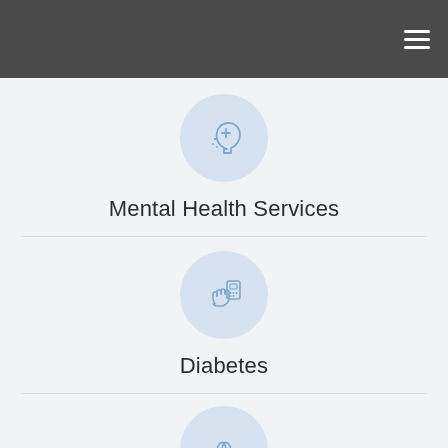[Figure (illustration): Circular light blue icon with a human head profile and medical cross symbol for Mental Health Services]
Mental Health Services
[Figure (illustration): Circular light blue icon with a hand holding a blood glucose meter for Diabetes]
Diabetes
[Figure (illustration): Circular light blue icon with kidney illustration, partially visible at bottom of page]